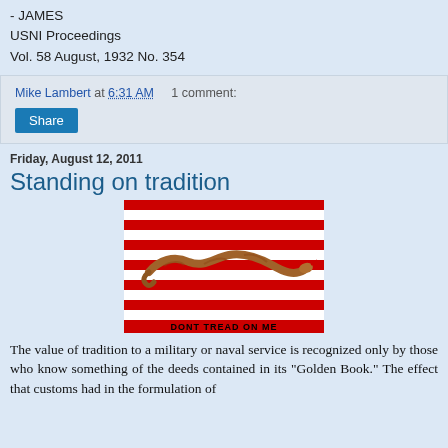- JAMES
USNI Proceedings
Vol. 58 August, 1932 No. 354
Mike Lambert at 6:31 AM    1 comment:
Share
Friday, August 12, 2011
Standing on tradition
[Figure (illustration): Gadsden flag (Don't Tread On Me) with alternating red and white horizontal stripes and a coiled rattlesnake in the center, with text 'DONT TREAD ON ME' at the bottom.]
The value of tradition to a military or naval service is recognized only by those who know something of the deeds contained in its "Golden Book." The effect that customs had in the formulation of